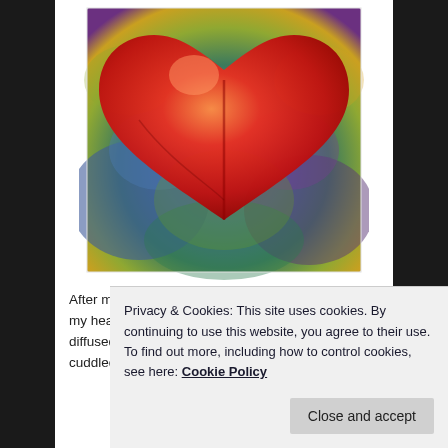[Figure (illustration): Colorful painting of a large red heart on a background with rainbow/tie-dye colors including purple, blue, green, yellow, and orange. The heart is bold and textured, framed with a white border.]
After my frustrating FaceTime with my mom, with my head exploding, I laid down on my bed. I diffused lavender essential oil on my dresser. I cuddled with my cat. I cried
Privacy & Cookies: This site uses cookies. By continuing to use this website, you agree to their use.
To find out more, including how to control cookies, see here: Cookie Policy
diagnosed. (Shocking result, to be honest. I seriously